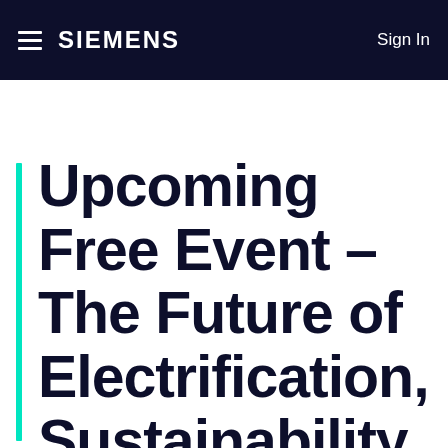SIEMENS  Sign In
Blogs
Upcoming Free Event – The Future of Electrification, Sustainability,